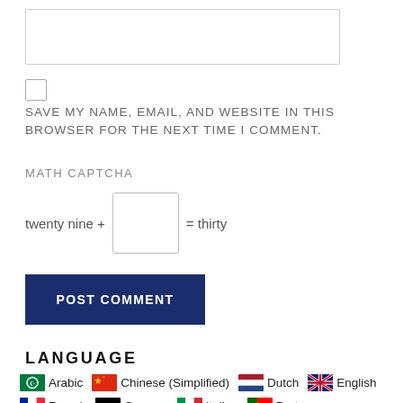[Figure (screenshot): Text area input box (empty)]
[Figure (screenshot): Checkbox (unchecked)]
SAVE MY NAME, EMAIL, AND WEBSITE IN THIS BROWSER FOR THE NEXT TIME I COMMENT.
MATH CAPTCHA
twenty nine + [input box] = thirty
[Figure (screenshot): POST COMMENT button (dark navy blue)]
LANGUAGE
Arabic
Chinese (Simplified)
Dutch
English
French
German
Italian
Portuguese
Russian
Spanish